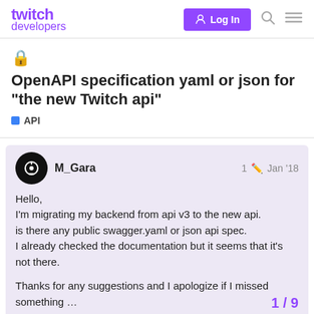twitch developers | Log In
🔒 OpenAPI specification yaml or json for "the new Twitch api"
API
M_Gara  1  Jan '18
Hello,
I'm migrating my backend from api v3 to the new api.
is there any public swagger.yaml or json api spec.
I already checked the documentation but it seems that it's not there.

Thanks for any suggestions and I apologize if I missed something …
1 / 9